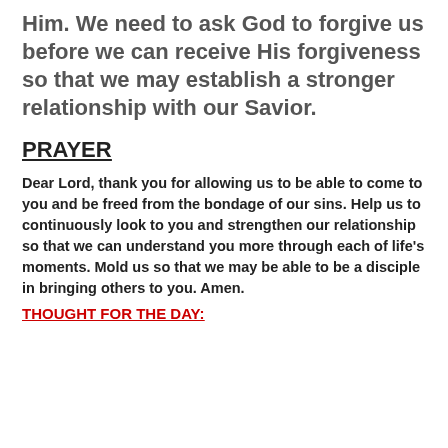Him. We need to ask God to forgive us before we can receive His forgiveness so that we may establish a stronger relationship with our Savior.
PRAYER
Dear Lord, thank you for allowing us to be able to come to you and be freed from the bondage of our sins. Help us to continuously look to you and strengthen our relationship so that we can understand you more through each of life’s moments. Mold us so that we may be able to be a disciple in bringing others to you. Amen.
THOUGHT FOR THE DAY: